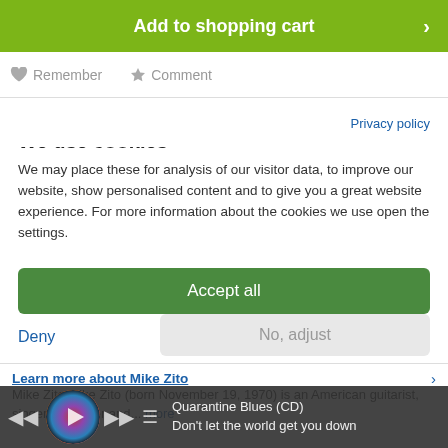Add to shopping cart
Remember   Comment
Privacy policy
We use cookies
We may place these for analysis of our visitor data, to improve our website, show personalised content and to give you a great website experience. For more information about the cookies we use open the settings.
Accept all
Deny
No, adjust
Learn more about Mike Zito
Mike Zito Mike Zito (born November 19, 1970) is an American guitarist, singer, producer and... more
Quarantine Blues (CD)
Don't let the world get you down